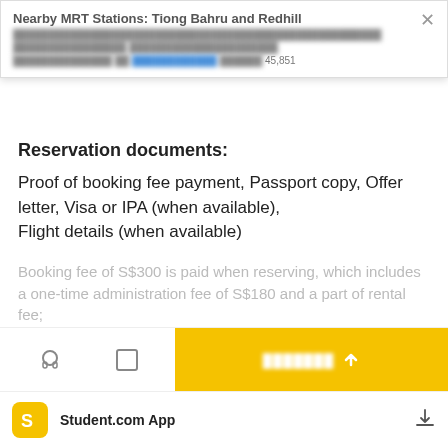Nearby MRT Stations: Tiong Bahru and Redhill
Bus Available 46 and 145 851
Reservation documents:
Proof of booking fee payment, Passport copy, Offer letter, Visa or IPA (when available),
Flight details (when available)
Booking fee of S$300 is paid when reserving, which includes a one-time administration fee of S$180 and a part of rental fee;
[CTA Button - blurred]
[Bottom nav label - blurred]
Student.com App